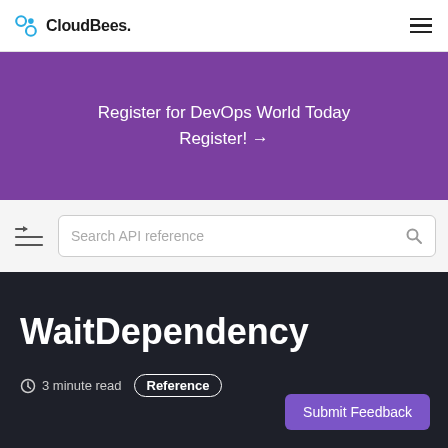CloudBees.
Register for DevOps World Today Register! →
Search API reference
WaitDependency
3 minute read  Reference
Submit Feedback